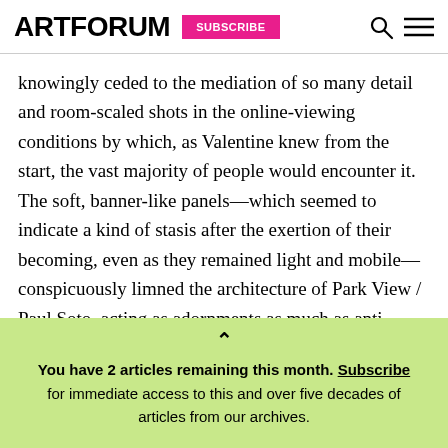ARTFORUM | SUBSCRIBE
knowingly ceded to the mediation of so many detail and room-scaled shots in the online-viewing conditions by which, as Valentine knew from the start, the vast majority of people would encounter it. The soft, banner-like panels—which seemed to indicate a kind of stasis after the exertion of their becoming, even as they remained light and mobile—conspicuously limned the architecture of Park View / Paul Soto, acting as adornments as much as anti-
You have 2 articles remaining this month. Subscribe for immediate access to this and over five decades of articles from our archives.